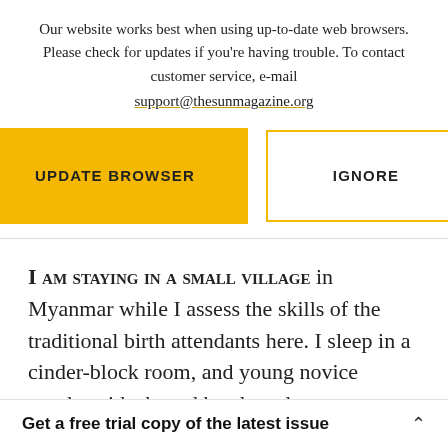Our website works best when using up-to-date web browsers. Please check for updates if you're having trouble. To contact customer service, e-mail support@thesunmagazine.org
[Figure (other): Two buttons: a yellow filled 'UPDATE BROWSER' button and a yellow-outlined 'IGNORE' button]
I AM STAYING IN A SMALL VILLAGE in Myanmar while I assess the skills of the traditional birth attendants here. I sleep in a cinder-block room, and young novice monks with shaved heads and
Get a free trial copy of the latest issue